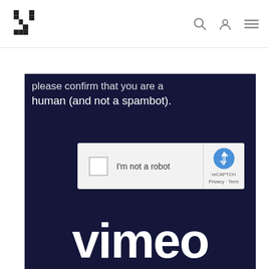[Figure (logo): Square geometric logo made of two L-shaped bracket symbols forming a stylized icon]
[Figure (screenshot): Screenshot of a website showing a reCAPTCHA widget overlaid on a Vimeo video player with dark navy background. The reCAPTCHA shows a checkbox with 'I'm not a robot' text and the reCAPTCHA logo. Partial text at top reads 'please confirm that you are a human (and not a spambot).' and Vimeo logo visible in background.]
Recording from the EVDT Community Meeting - June 2022